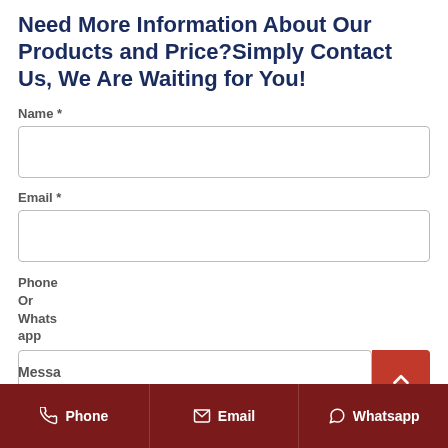Need More Information About Our Products and Price?Simply Contact Us, We Are Waiting for You!
Name *
[Figure (other): Empty text input field for Name]
Email *
[Figure (other): Empty text input field for Email]
Phone Or Whats app
[Figure (other): Empty text input field for Phone Or Whatsapp with a red scroll-up button]
Messa
Phone   Email   Whatsapp